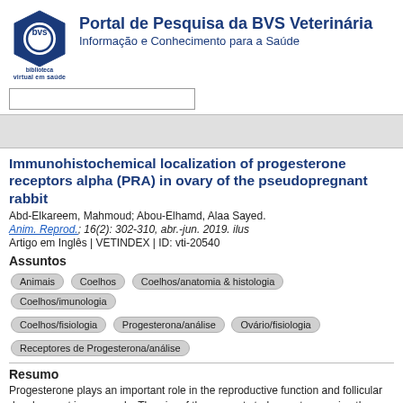[Figure (logo): BVS Biblioteca Virtual em Saúde logo with hexagon shape]
Portal de Pesquisa da BVS Veterinária
Informação e Conhecimento para a Saúde
Immunohistochemical localization of progesterone receptors alpha (PRA) in ovary of the pseudopregnant rabbit
Abd-Elkareem, Mahmoud; Abou-Elhamd, Alaa Sayed.
Anim. Reprod.; 16(2): 302-310, abr.-jun. 2019. ilus
Artigo em Inglês | VETINDEX | ID: vti-20540
Assuntos
Animais
Coelhos
Coelhos/anatomia & histologia
Coelhos/imunologia
Coelhos/fisiologia
Progesterona/análise
Ovário/fisiologia
Receptores de Progesterona/análise
Resumo
Progesterone plays an important role in the reproductive function and follicular development in mammals. The aim of the present study was to examine the localization of progesterone receptor alpha (PRA) in ovary of pseudopregnant rabbit by immunohistochemical methods. Samples were collected from 14 h. to 18 days of pseudopregnancy. At the first stage of pseudopregnancy (14 h.), the rabbit ovary showed moderate immunostaining of PRA in the granulosa cells and theca interna cells of